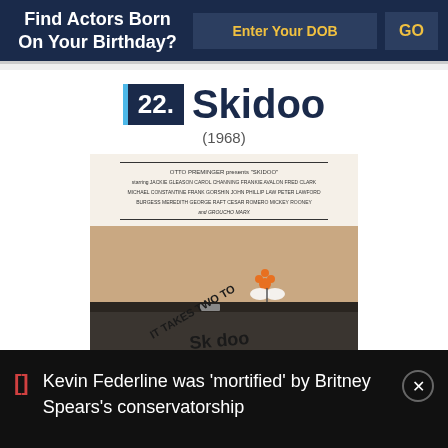Find Actors Born On Your Birthday?
22. Skidoo (1968)
[Figure (photo): Movie poster for Skidoo (1968) showing a person's torso with text 'IT TAKES TWO TO SKIDOO' and a butterfly tattoo design. Credits list Otto Preminger presents Skidoo starring Jackie Gleason, Carol Channing, Frankie Avalon, Fred Clark, Michael Constantine, Frank Gorshin, John Phillip Law, Peter Lawford, Burgess Meredith, George Raft, Cesar Romero, Mickey Rooney and Groucho Marx.]
Kevin Federline was 'mortified' by Britney Spears's conservatorship